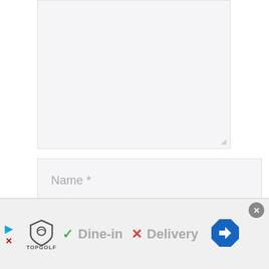[Figure (screenshot): A large textarea input field with light gray background and a resize handle at bottom-right corner]
Name *
Email *
Website
Save my name, email, and website in
this browser for the next time I
[Figure (screenshot): Advertisement banner for Topgolf showing Dine-in with green checkmark and Delivery with red X, plus a blue navigation arrow icon. Has a close button (X) in top right. Left side shows a play icon and a red X with close controls.]